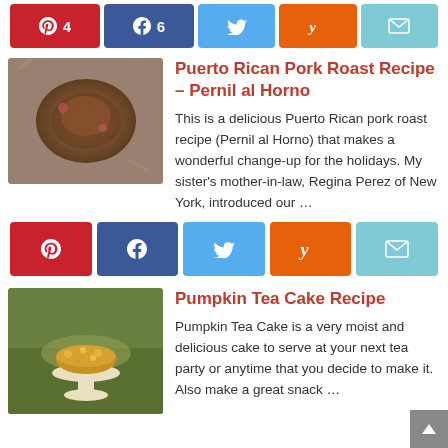[Figure (other): Social share buttons row: Pinterest (4), Facebook (6), Twitter, Yummly, Email]
[Figure (photo): Puerto Rican Pork Roast dish photo]
Puerto Rican Pork Roast Recipe – Pernil al Horno
This is a delicious Puerto Rican pork roast recipe (Pernil al Horno) that makes a wonderful change-up for the holidays.  My sister's mother-in-law, Regina Perez of New York, introduced our …
[Figure (other): Social share buttons row: Pinterest, Facebook, Twitter, Yummly, Email]
[Figure (photo): Pumpkin Tea Cake on a white stand]
Pumpkin Tea Cake Recipe
Pumpkin Tea Cake is a very moist and delicious cake to serve at your next tea party or anytime that you decide to make it.  Also make a great snack …